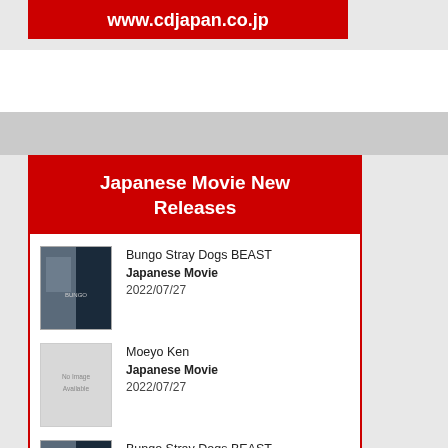www.cdjapan.co.jp
Japanese Movie New Releases
Bungo Stray Dogs BEAST | Japanese Movie | 2022/07/27
Moeyo Ken | Japanese Movie | 2022/07/27
Bungo Stray Dogs BEAST | Japanese Movie | 2022/07/27
Kindaichi Shonen no Jikenbo Shanghai Gyojin Densetsu | Japanese Movie | 2022/08/17